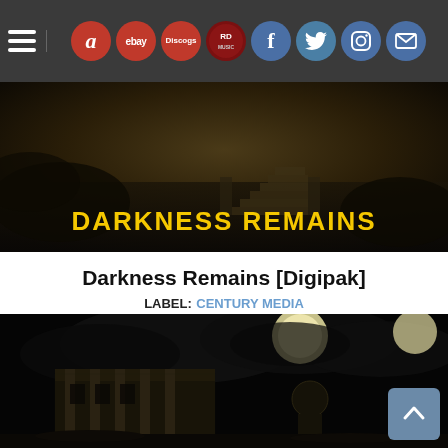Navigation bar with hamburger menu and social/marketplace icons: Amazon, eBay, Discogs, RD, Facebook, Twitter, Instagram, Mail
[Figure (photo): Darkness Remains album banner — dark atmospheric image with stairs in background, yellow text 'DARKNESS REMAINS' at bottom]
Darkness Remains [Digipak]
LABEL: CENTURY MEDIA
2017-04-21
CD: $13.68  + BUY
[Figure (illustration): Dark album artwork showing gothic building and figure under a night sky with moon, stippled/etched style]